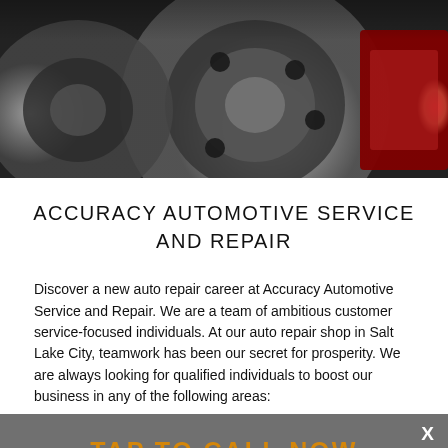[Figure (photo): Close-up photograph of automotive brake rotors and calipers, showing gray metal disc rotors and a red brake caliper]
ACCURACY AUTOMOTIVE SERVICE AND REPAIR
Discover a new auto repair career at Accuracy Automotive Service and Repair. We are a team of ambitious customer service-focused individuals. At our auto repair shop in Salt Lake City, teamwork has been our secret for prosperity. We are always looking for qualified individuals to boost our business in any of the following areas:
[Figure (infographic): Tap to call now overlay banner with phone number 801-266-3609 and close X button]
Are you ready to offer your expertise? If you believe you have the auto repair skills to be part of Accuracy Automotive Service and team, please complete the form below. After reviewing your re we will contact you and arrange a time to fill out an applicatio may also upload your resume here. Thank you for your interest i Accuracy Automotive Service and Repair.